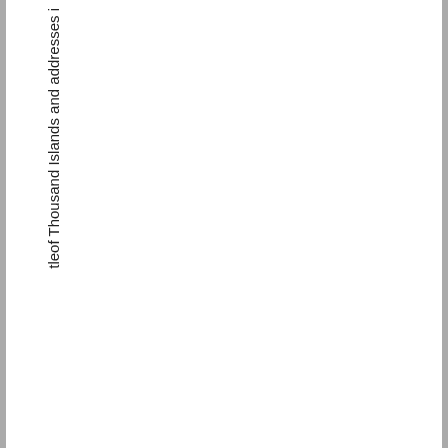tleof Thousand Islands and addresses i